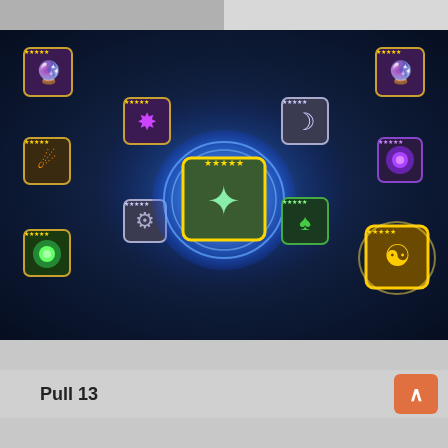[Figure (screenshot): Pull 11 game screenshot showing 10 summoned item cards on dark blue fantasy background]
Pull 11
[Figure (screenshot): Pull 12 game screenshot showing 10 summoned item cards on grey/blurred background]
Pull 12
[Figure (screenshot): Pull 13 game screenshot showing 10 summoned item cards including a glowing 5-star hero in center on dark blue fantasy background]
Pull 13